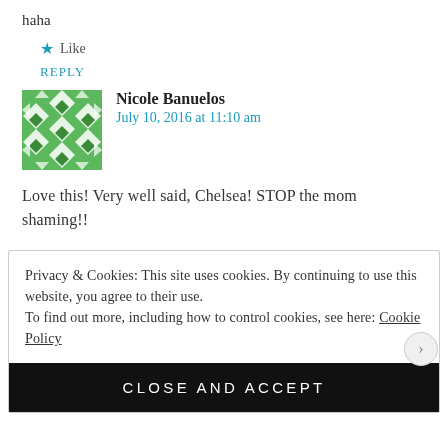haha
★ Like
REPLY
Nicole Banuelos
July 10, 2016 at 11:10 am
[Figure (illustration): Green and white geometric pattern avatar for Nicole Banuelos]
Love this! Very well said, Chelsea! STOP the mom shaming!!
Privacy & Cookies: This site uses cookies. By continuing to use this website, you agree to their use. To find out more, including how to control cookies, see here: Cookie Policy
CLOSE AND ACCEPT